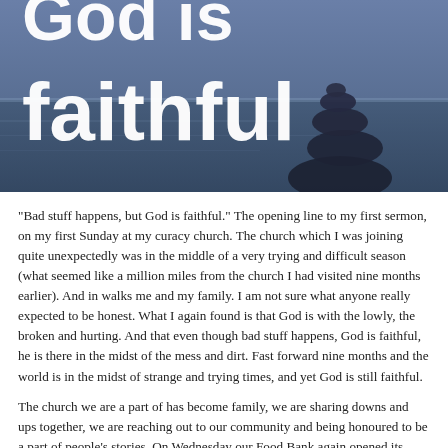[Figure (photo): A blue-toned photo of balanced stacked rocks against a blurred water/sky background. Large white bold text overlaid reads 'God is faithful' (with 'God is' partially cut off at the top).]
"Bad stuff happens, but God is faithful." The opening line to my first sermon, on my first Sunday at my curacy church. The church which I was joining quite unexpectedly was in the middle of a very trying and difficult season (what seemed like a million miles from the church I had visited nine months earlier). And in walks me and my family. I am not sure what anyone really expected to be honest. What I again found is that God is with the lowly, the broken and hurting. And that even though bad stuff happens, God is faithful, he is there in the midst of the mess and dirt. Fast forward nine months and the world is in the midst of strange and trying times, and yet God is still faithful.
The church we are a part of has become family, we are sharing downs and ups together, we are reaching out to our community and being honoured to be a part of people's stories. On Wednesday our Food Bank again opened its